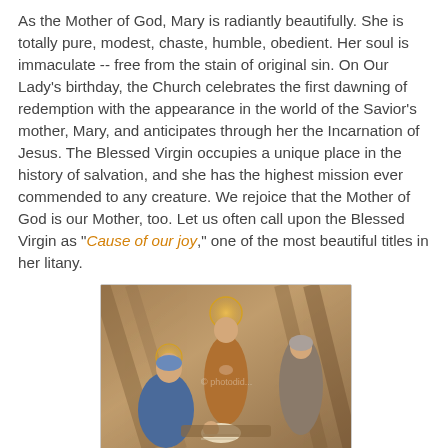As the Mother of God, Mary is radiantly beautifully. She is totally pure, modest, chaste, humble, obedient. Her soul is immaculate -- free from the stain of original sin. On Our Lady's birthday, the Church celebrates the first dawning of redemption with the appearance in the world of the Savior's mother, Mary, and anticipates through her the Incarnation of Jesus. The Blessed Virgin occupies a unique place in the history of salvation, and she has the highest mission ever commended to any creature. We rejoice that the Mother of God is our Mother, too. Let us often call upon the Blessed Virgin as "Cause of our joy," one of the most beautiful titles in her litany.
[Figure (illustration): Religious painting depicting a nativity scene with Mary, Joseph (with halo), the infant Jesus, and another figure, rendered in a classical/medieval style with warm earth tones.]